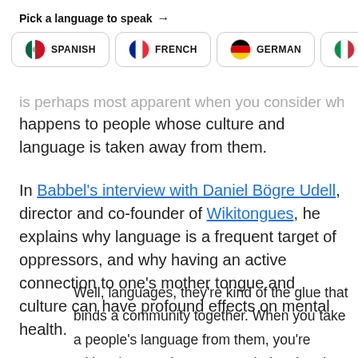Pick a language to speak →
[Figure (infographic): Language selection bar with flag icons for Spanish, French, German, and Italian (partially visible)]
is perhaps most apparent when you consider what happens to people whose culture and language is taken away from them.
In Babbel's interview with Daniel Bögre Udell, director and co-founder of Wikitongues, he explains why language is a frequent target of oppressors, and why having an active connection to one's mother tongue and culture can have profound effects on mental health.
Well, languages, they're kind of the glue that binds a community together. When you take a people's language from them, you're taking the way they express their cultural heritage, their commonality. It's